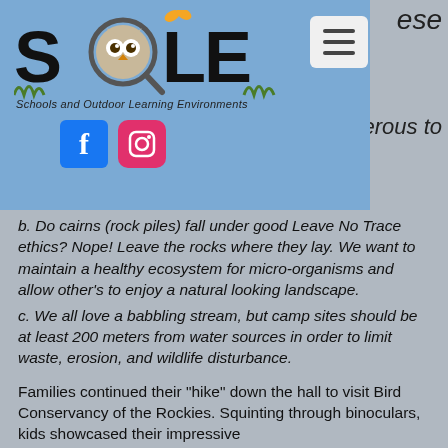[Figure (logo): SOLE (Schools and Outdoor Learning Environments) logo on blue background with owl mascot, hamburger menu button, Facebook icon, and Instagram icon]
b. Do cairns (rock piles) fall under good Leave No Trace ethics? Nope! Leave the rocks where they lay. We want to maintain a healthy ecosystem for micro-organisms and allow other’s to enjoy a natural looking landscape.
c. We all love a babbling stream, but camp sites should be at least 200 meters from water sources in order to limit waste, erosion, and wildlife disturbance.
Families continued their “hike” down the hall to visit Bird Conservancy of the Rockies. Squinting through binoculars, kids showcased their impressive